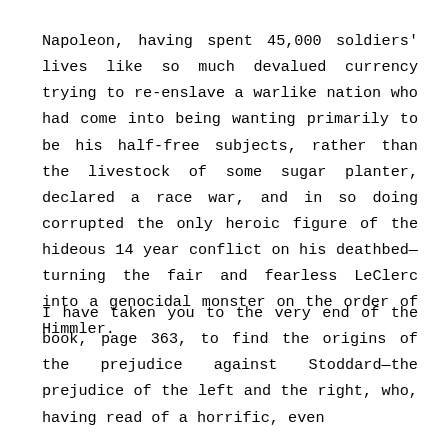Napoleon, having spent 45,000 soldiers' lives like so much devalued currency trying to re-enslave a warlike nation who had come into being wanting primarily to be his half-free subjects, rather than the livestock of some sugar planter, declared a race war, and in so doing corrupted the only heroic figure of the hideous 14 year conflict on his deathbed—turning the fair and fearless LeClerc into a genocidal monster on the order of Himmler.
I have taken you to the very end of the book, page 363, to find the origins of the prejudice against Stoddard—the prejudice of the left and the right, who, having read of a horrific, even...